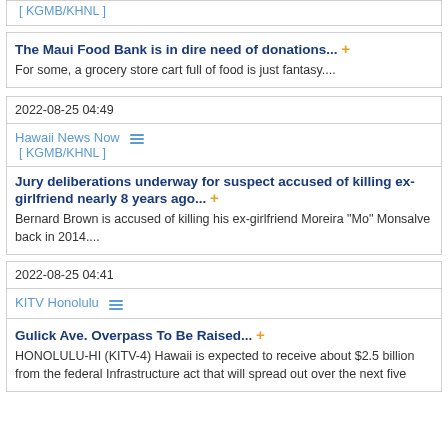[ KGMB/KHNL ]
The Maui Food Bank is in dire need of donations...
For some, a grocery store cart full of food is just fantasy....
2022-08-25 04:49
Hawaii News Now [ KGMB/KHNL ]
Jury deliberations underway for suspect accused of killing ex-girlfriend nearly 8 years ago...
Bernard Brown is accused of killing his ex-girlfriend Moreira "Mo" Monsalve back in 2014....
2022-08-25 04:41
KITV Honolulu
Gulick Ave. Overpass To Be Raised...
HONOLULU-HI (KITV-4) Hawaii is expected to receive about $2.5 billion from the federal Infrastructure act that will spread out over the next five years. The department receives $1.34 billion...